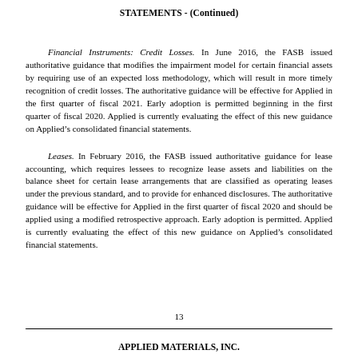STATEMENTS - (Continued)
Financial Instruments: Credit Losses. In June 2016, the FASB issued authoritative guidance that modifies the impairment model for certain financial assets by requiring use of an expected loss methodology, which will result in more timely recognition of credit losses. The authoritative guidance will be effective for Applied in the first quarter of fiscal 2021. Early adoption is permitted beginning in the first quarter of fiscal 2020. Applied is currently evaluating the effect of this new guidance on Applied’s consolidated financial statements.
Leases. In February 2016, the FASB issued authoritative guidance for lease accounting, which requires lessees to recognize lease assets and liabilities on the balance sheet for certain lease arrangements that are classified as operating leases under the previous standard, and to provide for enhanced disclosures. The authoritative guidance will be effective for Applied in the first quarter of fiscal 2020 and should be applied using a modified retrospective approach. Early adoption is permitted. Applied is currently evaluating the effect of this new guidance on Applied’s consolidated financial statements.
13
APPLIED MATERIALS, INC.